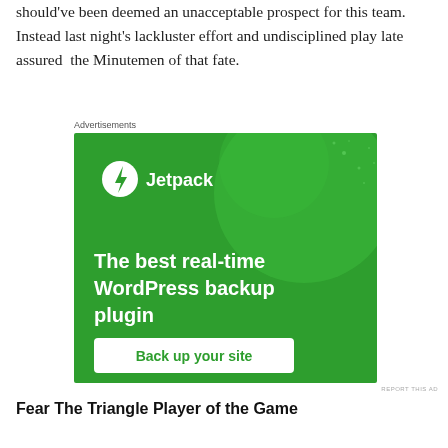should've been deemed an unacceptable prospect for this team.  Instead last night's lackluster effort and undisciplined play late assured  the Minutemen of that fate.
Advertisements
[Figure (screenshot): Jetpack advertisement banner showing 'The best real-time WordPress backup plugin' with 'Back up your site' button on a green background]
REPORT THIS AD
Fear The Triangle Player of the Game